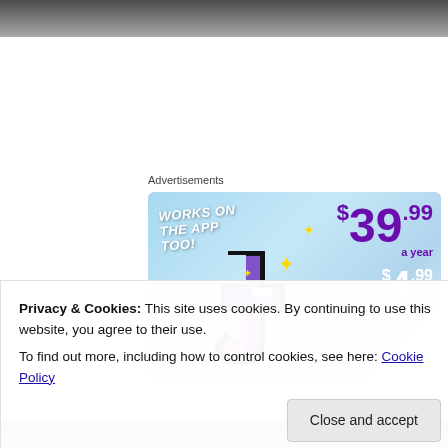[Figure (photo): Top portion of a photo, dark/grey tones visible at the top of the page]
Advertisements
[Figure (illustration): Advertisement banner with sky blue background showing Tumblr 't' logo, sparkle stars, text 'WORKS ON THE APP TOO!' and pricing '$39.99 a year or $4.99 a month + FREE SHIPPING']
Privacy & Cookies: This site uses cookies. By continuing to use this website, you agree to their use.
To find out more, including how to control cookies, see here: Cookie Policy
Close and accept
[Figure (photo): Bottom strip of a photo visible at the bottom of the page]